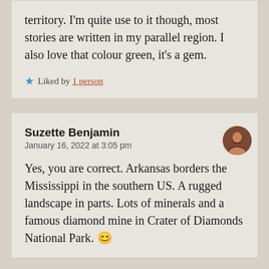territory. I'm quite use to it though, most stories are written in my parallel region. I also love that colour green, it's a gem.
★ Liked by 1 person
Suzette Benjamin
January 16, 2022 at 3:05 pm
Yes, you are correct. Arkansas borders the Mississippi in the southern US. A rugged landscape in parts. Lots of minerals and a famous diamond mine in Crater of Diamonds National Park. 😊